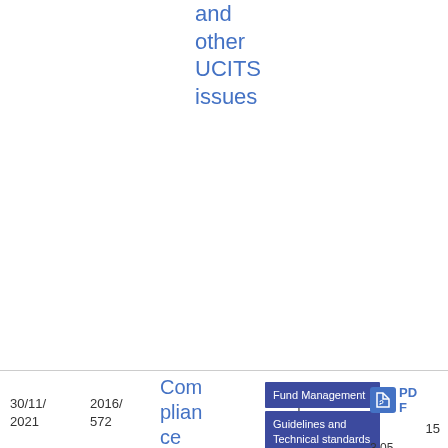and other UCITS issues
| Date | Number | Title | Tags | Type | Info |
| --- | --- | --- | --- | --- | --- |
| 30/11/2021 | 2016/572 | Compliance table- Guidelines on key concepts of the AIF | Fund Management | Guidelines and Technical standards | Compliance table | PDF | 15
3.05 KB |